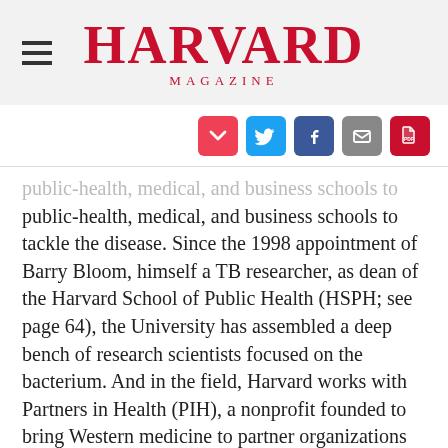HARVARD MAGAZINE
[Figure (infographic): Social sharing icons: Pocket (red), Twitter (blue), Facebook (dark blue), Email (grey), PDF (red)]
public-health, medical, and business schools to tackle the disease. Since the 1998 appointment of Barry Bloom, himself a TB researcher, as dean of the Harvard School of Public Health (HSPH; see page 64), the University has assembled a deep bench of research scientists focused on the bacterium. And in the field, Harvard works with Partners in Health (PIH), a nonprofit founded to bring Western medicine to partner organizations caring for the world’s poor; PIH offers clinical expertise in treatment strategies that have proven